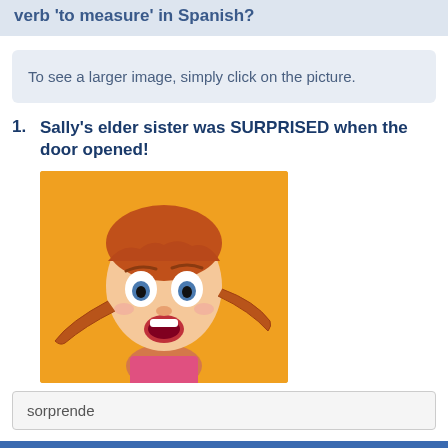verb 'to measure' in Spanish?
To see a larger image, simply click on the picture.
1. Sally's elder sister was SURPRISED when the door opened!
[Figure (photo): A young girl with red braided pigtails making a surprised expression with wide eyes and open mouth, against an orange/yellow background, wearing a pink top.]
sorprende